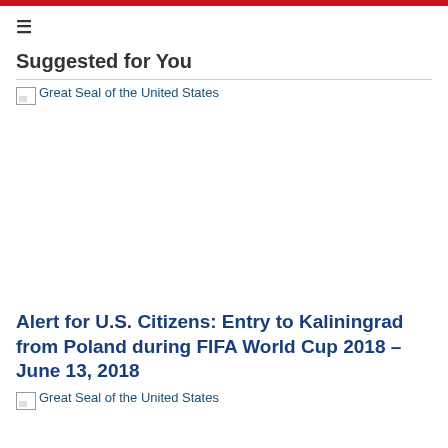≡
Suggested for You
[Figure (illustration): Broken image placeholder with alt text 'Great Seal of the United States']
Alert for U.S. Citizens: Entry to Kaliningrad from Poland during FIFA World Cup 2018 – June 13, 2018
[Figure (illustration): Broken image placeholder with alt text 'Great Seal of the United States']